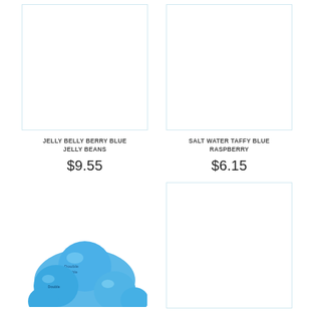[Figure (photo): White empty product image box for Jelly Belly Berry Blue Jelly Beans]
JELLY BELLY BERRY BLUE JELLY BEANS
$9.55
[Figure (photo): White empty product image box for Salt Water Taffy Blue Raspberry]
SALT WATER TAFFY BLUE RASPBERRY
$6.15
[Figure (photo): Blue round candy gumballs photo, partially visible at bottom of page]
[Figure (photo): White empty product image box, bottom right, partially visible]